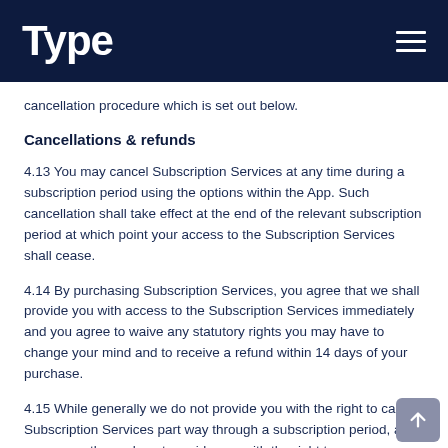Type
cancellation procedure which is set out below.
Cancellations & refunds
4.13 You may cancel Subscription Services at any time during a subscription period using the options within the App. Such cancellation shall take effect at the end of the relevant subscription period at which point your access to the Subscription Services shall cease.
4.14 By purchasing Subscription Services, you agree that we shall provide you with access to the Subscription Services immediately and you agree to waive any statutory rights you may have to change your mind and to receive a refund within 14 days of your purchase.
4.15 While generally we do not provide you with the right to cancel Subscription Services part way through a subscription period, and consequently we do not provide you with the right to